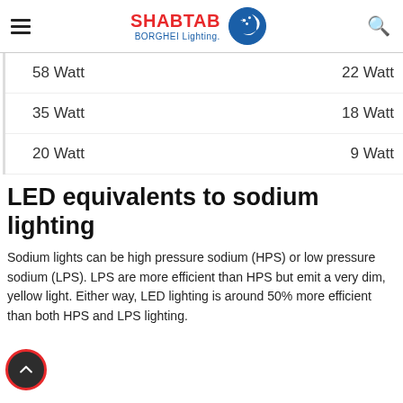SHABTAB BORGHEI Lighting
58 Watt   22 Watt
35 Watt   18 Watt
20 Watt   9 Watt
LED equivalents to sodium lighting
Sodium lights can be high pressure sodium (HPS) or low pressure sodium (LPS). LPS are more efficient than HPS but emit a very dim, yellow light. Either way, LED lighting is around 50% more efficient than both HPS and LPS lighting.